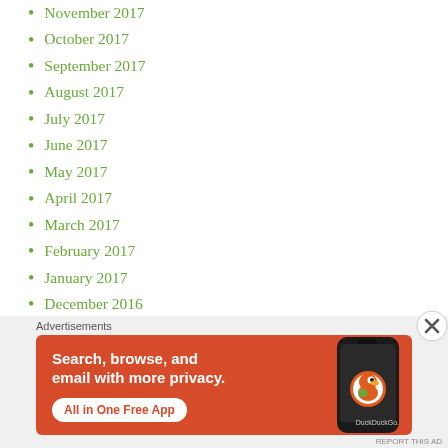November 2017
October 2017
September 2017
August 2017
July 2017
June 2017
May 2017
April 2017
March 2017
February 2017
January 2017
December 2016
November 2016
October 2016
September 2016
August 2016
[Figure (screenshot): DuckDuckGo advertisement banner with orange background showing 'Search, browse, and email with more privacy. All in One Free App' with a phone image and DuckDuckGo logo]